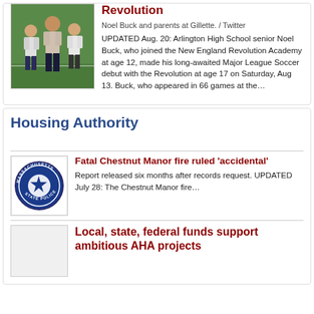Revolution
[Figure (photo): Noel Buck and parents standing on a soccer field at Gillette Stadium]
Noel Buck and parents at Gillette. / Twitter
UPDATED Aug. 20: Arlington High School senior Noel Buck, who joined the New England Revolution Academy at age 12, made his long-awaited Major League Soccer debut with the Revolution at age 17 on Saturday, Aug 13. Buck, who appeared in 66 games at the…
Housing Authority
Fatal Chestnut Manor fire ruled 'accidental'
[Figure (logo): Massachusetts State Police seal/logo]
Report released six months after records request. UPDATED July 28: The Chestnut Manor fire…
Local, state, federal funds support ambitious AHA projects